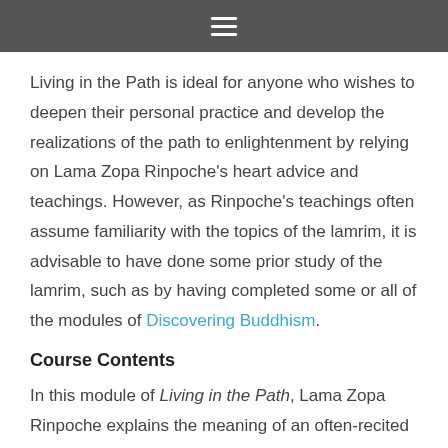≡
Living in the Path is ideal for anyone who wishes to deepen their personal practice and develop the realizations of the path to enlightenment by relying on Lama Zopa Rinpoche's heart advice and teachings. However, as Rinpoche's teachings often assume familiarity with the topics of the lamrim, it is advisable to have done some prior study of the lamrim, such as by having completed some or all of the modules of Discovering Buddhism.
Course Contents
In this module of Living in the Path, Lama Zopa Rinpoche explains the meaning of an often-recited verse from